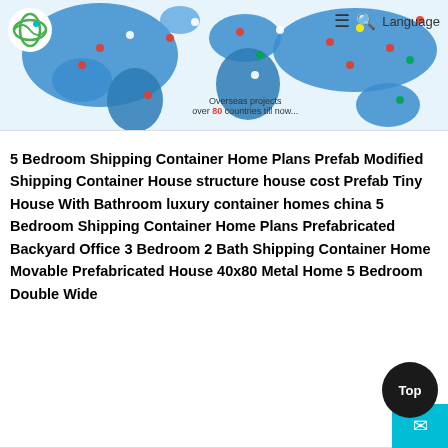[Figure (map): World map with country flags showing overseas projects in over 80 countries, with a company logo (green circular logo) in top left, hamburger menu and Language navigation in top right.]
Overseas projects over 80 countries till now...
5 Bedroom Shipping Container Home Plans Prefab Modified Shipping Container House structure house cost Prefab Tiny House With Bathroom luxury container homes china 5 Bedroom Shipping Container Home Plans Prefabricated Backyard Office 3 Bedroom 2 Bath Shipping Container Home Movable Prefabricated House 40x80 Metal Home 5 Bedroom Double Wide